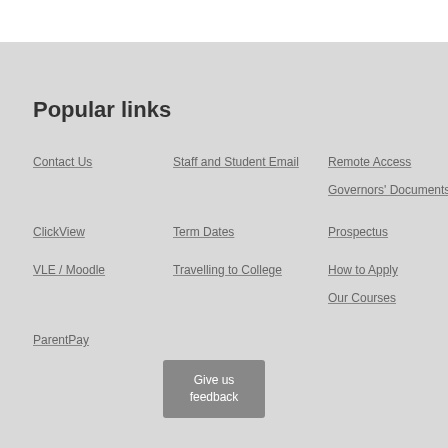Popular links
Contact Us
Staff and Student Email
Remote Access
Governors' Documents
ClickView
Term Dates
Prospectus
VLE / Moodle
Travelling to College
How to Apply
Our Courses
ParentPay
Give us feedback